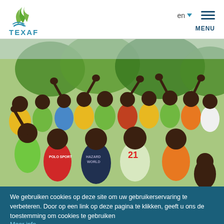TEXAF — en MENU
[Figure (photo): Large group of African children and a woman outdoors, many waving and smiling at the camera, wearing colorful t-shirts including yellow, green, red, and orange. Trees visible in the background.]
We gebruiken cookies op deze site om uw gebruikerservaring te verbeteren. Door op een link op deze pagina te klikken, geeft u ons de toestemming om cookies te gebruiken Meer info